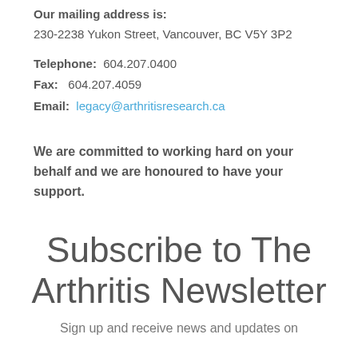Our mailing address is:
230-2238 Yukon Street, Vancouver, BC V5Y 3P2
Telephone:  604.207.0400
Fax:   604.207.4059
Email:  legacy@arthritisresearch.ca
We are committed to working hard on your behalf and we are honoured to have your support.
Subscribe to The Arthritis Newsletter
Sign up and receive news and updates on